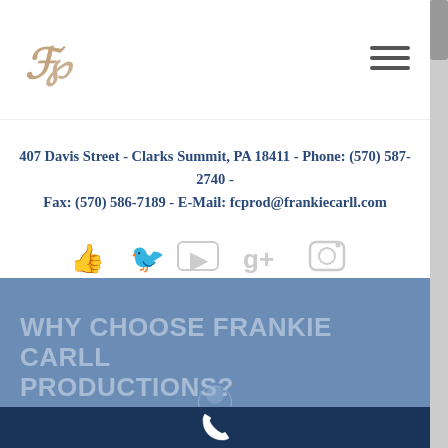[Figure (logo): Frankie Carll Productions stylized FP monogram logo in gold/bronze script]
[Figure (other): Hamburger menu icon (three horizontal lines)]
407 Davis Street - Clarks Summit, PA 18411 - Phone: (570) 587-2740 - Fax: (570) 586-7189 - E-Mail: fcprod@frankiecarll.com
[Figure (other): Social media icons: thumbs up (Facebook), Twitter bird, YouTube, Google+, Instagram]
WHY CHOOSE FRANKIE CARLL PRODUCTIONS?
CONTACT US
[Figure (other): Phone handset icon in white on dark navy background]